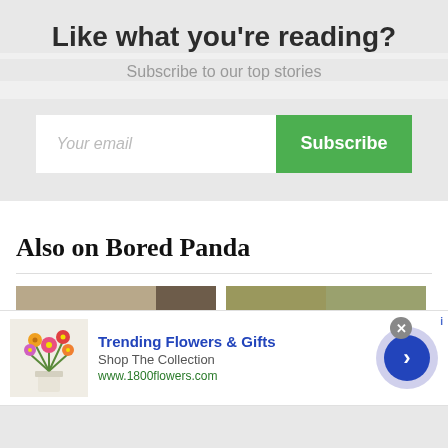Like what you're reading?
Subscribe to our top stories
[Figure (screenshot): Email subscription form with 'Your email' input field and green 'Subscribe' button]
Also on Bored Panda
[Figure (photo): Two thumbnail images side by side: left shows a bedroom with a bed, right shows a person lying on orange/brown rocky ground]
[Figure (infographic): Advertisement banner for 'Trending Flowers & Gifts' showing flower bouquet image, text 'Shop The Collection', URL 'www.1800flowers.com', with navigation arrow button and close button]